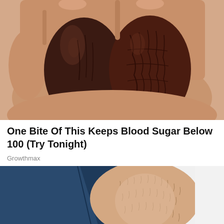[Figure (photo): Close-up photo of a hand holding two dark brown dried date fruits]
One Bite Of This Keeps Blood Sugar Below 100 (Try Tonight)
Growthmax
[Figure (photo): Photo of a person's legs/knees, wearing dark blue jeans, sitting with bare lower legs visible against a white background]